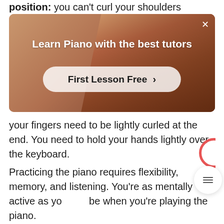position: you can't curl your shoulders forwards.
[Figure (photo): Advertisement banner for piano lessons showing a person with arms raised, with text 'Learn Piano with the best tutors' and a 'First Lesson Free >' button]
your fingers need to be lightly curled at the end. You need to hold your hands lightly over the keyboard.
Practicing the piano requires flexibility, memory, and listening. You're as mentally active as you be when you're playing the piano.